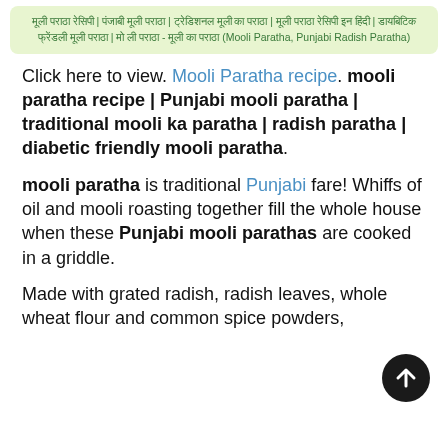मूली पराठा रेसिपी | पंजाबी मूली पराठा | ट्रेडिशनल मूली का पराठा | मूली पराठा रेसिपी इन हिंदी | डायबिटिक फ्रेंडली मूली पराठा | मो ली पराठा - Mooli Paratha, Punjabi Radish Paratha
Click here to view. Mooli Paratha recipe. mooli paratha recipe | Punjabi mooli paratha | traditional mooli ka paratha | radish paratha | diabetic friendly mooli paratha.
mooli paratha is traditional Punjabi fare! Whiffs of oil and mooli roasting together fill the whole house when these Punjabi mooli parathas are cooked in a griddle.
Made with grated radish, radish leaves, whole wheat flour and common spice powders,